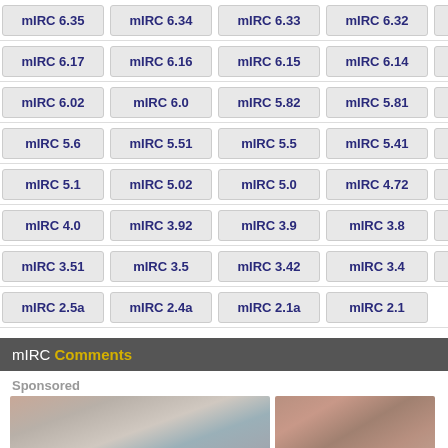mIRC 6.35, mIRC 6.34, mIRC 6.33, mIRC 6.32, mIRC 6.31, mIRC ...
mIRC 6.17, mIRC 6.16, mIRC 6.15, mIRC 6.14, mIRC 6.12, mIRC ...
mIRC 6.02, mIRC 6.0, mIRC 5.82, mIRC 5.81, mIRC 5.8, mIRC ...
mIRC 5.6, mIRC 5.51, mIRC 5.5, mIRC 5.41, mIRC 5.4, mIRC ...
mIRC 5.1, mIRC 5.02, mIRC 5.0, mIRC 4.72, mIRC 4.7, mIRC ...
mIRC 4.0, mIRC 3.92, mIRC 3.9, mIRC 3.8, mIRC 3.72, mIRC ...
mIRC 3.51, mIRC 3.5, mIRC 3.42, mIRC 3.4, mIRC 3.2, mIRC ...
mIRC 2.5a, mIRC 2.4a, mIRC 2.1a, mIRC 2.1
mIRC Comments
Sponsored
[Figure (photo): Two sponsored advertisement photos: left shows a cat near a white appliance with arms visible, right shows a person in plaid shirt]